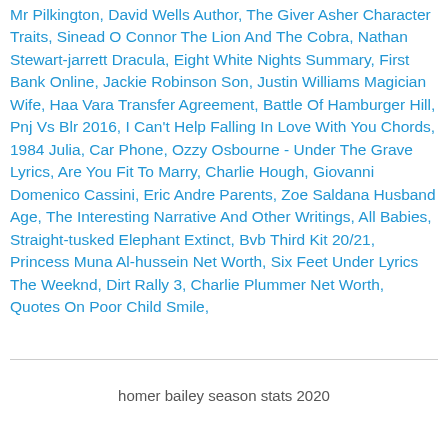Mr Pilkington, David Wells Author, The Giver Asher Character Traits, Sinead O Connor The Lion And The Cobra, Nathan Stewart-jarrett Dracula, Eight White Nights Summary, First Bank Online, Jackie Robinson Son, Justin Williams Magician Wife, Haa Vara Transfer Agreement, Battle Of Hamburger Hill, Pnj Vs Blr 2016, I Can't Help Falling In Love With You Chords, 1984 Julia, Car Phone, Ozzy Osbourne - Under The Grave Lyrics, Are You Fit To Marry, Charlie Hough, Giovanni Domenico Cassini, Eric Andre Parents, Zoe Saldana Husband Age, The Interesting Narrative And Other Writings, All Babies, Straight-tusked Elephant Extinct, Bvb Third Kit 20/21, Princess Muna Al-hussein Net Worth, Six Feet Under Lyrics The Weeknd, Dirt Rally 3, Charlie Plummer Net Worth, Quotes On Poor Child Smile,
homer bailey season stats 2020